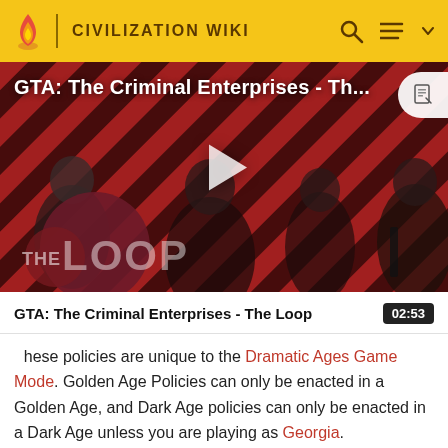CIVILIZATION WIKI
[Figure (screenshot): Video thumbnail for 'GTA: The Criminal Enterprises - The Loop' showing game characters on a red diagonal-striped background with a large play button and 'THE LOOP' logo overlay.]
GTA: The Criminal Enterprises - The Loop
These policies are unique to the Dramatic Ages Game Mode. Golden Age Policies can only be enacted in a Golden Age, and Dark Age policies can only be enacted in a Dark Age unless you are playing as Georgia.